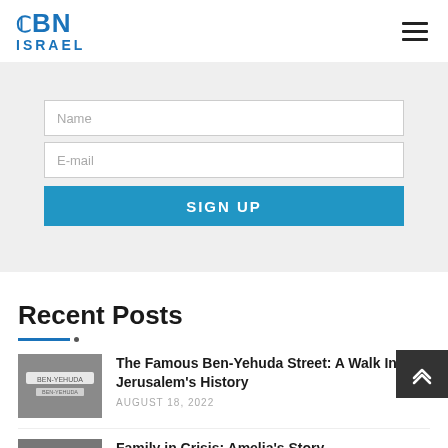CBN ISRAEL
Name
E-mail
SIGN UP
Recent Posts
The Famous Ben-Yehuda Street: A Walk Into Jerusalem's History
AUGUST 18, 2022
Family in Crisis: Amelia's Story